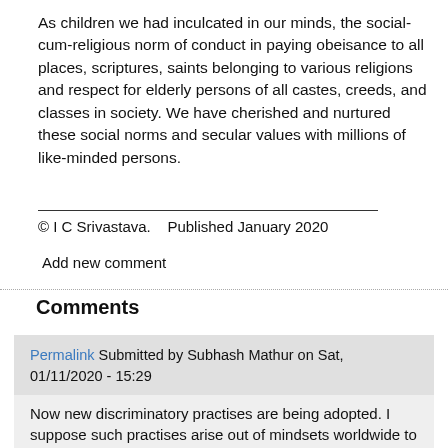As children we had inculcated in our minds, the social-cum-religious norm of conduct in paying obeisance to all places, scriptures, saints belonging to various religions and respect for elderly persons of all castes, creeds, and classes in society. We have cherished and nurtured these social norms and secular values with millions of like-minded persons.
© I C Srivastava.    Published January 2020
Add new comment
Comments
Permalink Submitted by Subhash Mathur on Sat, 01/11/2020 - 15:29
Now new discriminatory practises are being adopted. I suppose such practises arise out of mindsets worldwide to assert superiority over other